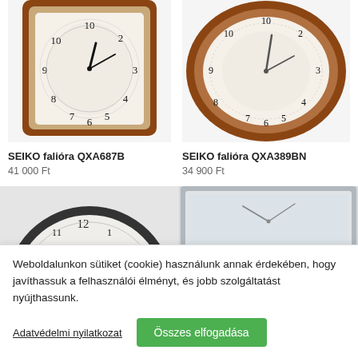[Figure (photo): SEIKO wall clock QXA687B - square brown wooden frame clock with white face]
[Figure (photo): SEIKO wall clock QXA389BN - round brown wooden frame clock with white face]
SEIKO falióra QXA687B
41 000 Ft
SEIKO falióra QXA389BN
34 900 Ft
[Figure (photo): Dark-framed round wall clock (partial view, bottom row)]
[Figure (photo): Modern silver-framed rectangular wall clock (partial view, bottom row)]
Weboldalunkon sütiket (cookie) használunk annak érdekében, hogy javíthassuk a felhasználói élményt, és jobb szolgáltatást nyújthassunk.
Adatvédelmi nyilatkozat
Összes elfogadása